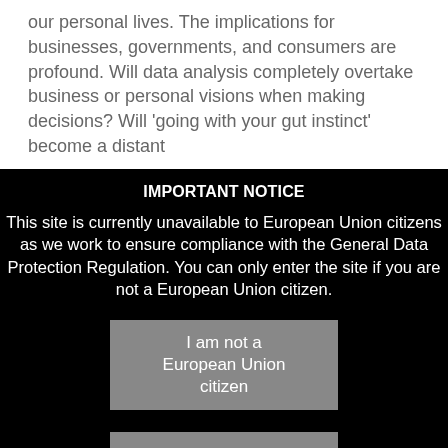our personal lives. The implications for businesses, governments, and consumers are profound. Will data analysis completely overtake business or personal visions when making decisions? Will ‘going with your gut instinct’ become a distant
IMPORTANT NOTICE
This site is currently unavailable to European Union citizens as we work to ensure compliance with the General Data Protection Regulation. You can only enter the site if you are not a European Union citizen.
I am not a European Union citizen
Exit